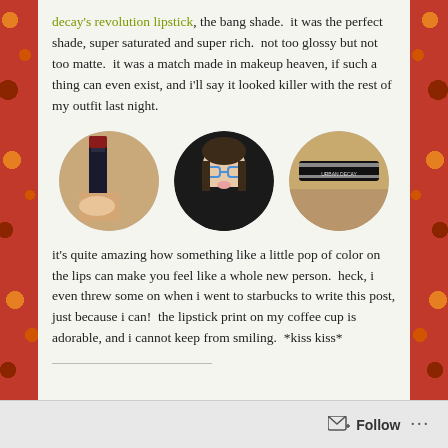decay's revolution lipstick, the bang shade. it was the perfect shade, super saturated and super rich. not too glossy but not too matte. it was a match made in makeup heaven, if such a thing can even exist, and i'll say it looked killer with the rest of my outfit last night.
[Figure (photo): Three circular photos: left shows a hand holding a dark lipstick stick, center shows a young woman with glasses making a pouty face, right shows a close-up of a cosmetic product tube (Urban Decay brand).]
it's quite amazing how something like a little pop of color on the lips can make you feel like a whole new person. heck, i even threw some on when i went to starbucks to write this post, just because i can! the lipstick print on my coffee cup is adorable, and i cannot keep from smiling. *kiss kiss*
Follow ...